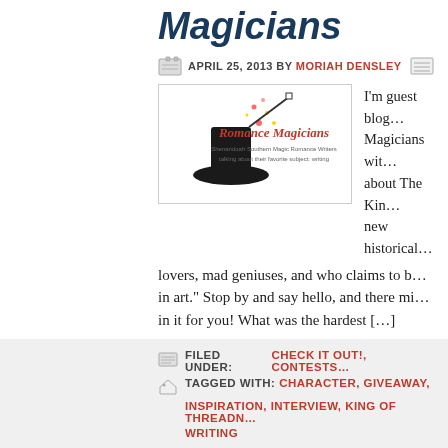Magicians
APRIL 25, 2013 BY MORIAH DENSLEY
[Figure (logo): Romance Magicians blog logo with a magician's hat and wand, red cursive text reading 'Romance Magicians', subtitle text beneath]
I'm guest blogging at Romance Magicians with ... about The King... new historical... lovers, mad geniuses, and who claims to b... in art." Stop by and say hello, and there mi... in it for you! What was the hardest [...]
FILED UNDER: CHECK IT OUT!, CONTESTS, TAGGED WITH: CHARACTER, GIVEAWAY, INSPIRATION, INTERVIEW, KING OF THREADN... WRITING
New Historical! The K... Threadneedle Street
APRIL 29, 2013 BY MORIAH DENSLEY